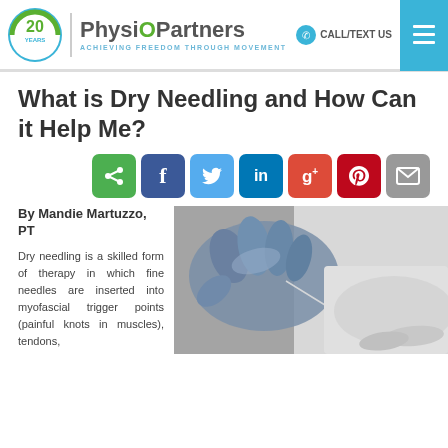PhysioPartners — ACHIEVING FREEDOM THROUGH MOVEMENT | CALL/TEXT US
What is Dry Needling and How Can it Help Me?
[Figure (infographic): Social sharing buttons: share (green), Facebook (dark blue), Twitter (light blue), LinkedIn (blue), Google+ (red), Pinterest (dark red), Email (gray)]
By Mandie Martuzzo, PT
[Figure (photo): Black and white photo of a gloved hand (blue latex glove) performing dry needling on a person's skin, inserting a fine needle into tissue.]
Dry needling is a skilled form of therapy in which fine needles are inserted into myofascial trigger points (painful knots in muscles), tendons,